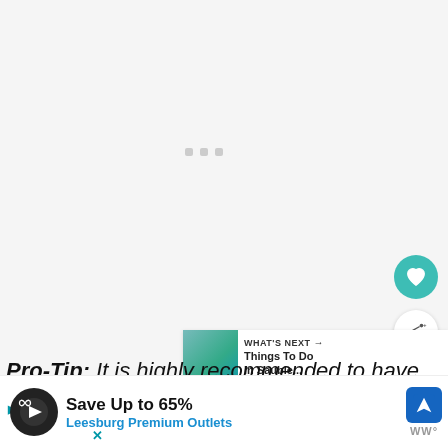[Figure (other): Website screenshot with loading state (gray dots), a teal heart/favorite button, a white share button with plus icon, and a 'What's Next' card showing 'Things To Do In Sauble...' with a landscape thumbnail image.]
Pro-Tip: It is highly recommended to have waterproof pants when going on the ice slides and many of the othe
[Figure (other): Advertisement banner: Save Up to 65% at Leesburg Premium Outlets, with navigation icon and Waze logo.]